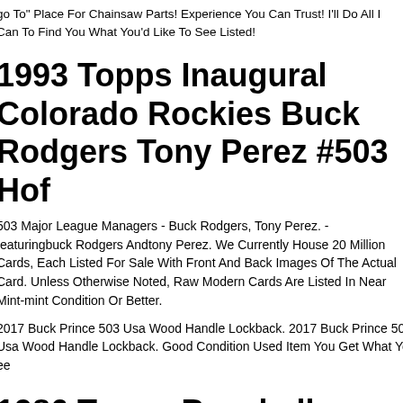go To" Place For Chainsaw Parts! Experience You Can Trust! I'll Do All I Can To Find You What You'd Like To See Listed!
1993 Topps Inaugural Colorado Rockies Buck Rodgers Tony Perez #503 Hof
503 Major League Managers - Buck Rodgers, Tony Perez. - featuringbuck Rodgers Andtony Perez. We Currently House 20 Million Cards, Each Listed For Sale With Front And Back Images Of The Actual Card. Unless Otherwise Noted, Raw Modern Cards Are Listed In Near Mint-mint Condition Or Better.
2017 Buck Prince 503 Usa Wood Handle Lockback. 2017 Buck Prince 503 Usa Wood Handle Lockback. Good Condition Used Item You Get What You See
1986 Topps Baseball Assorted